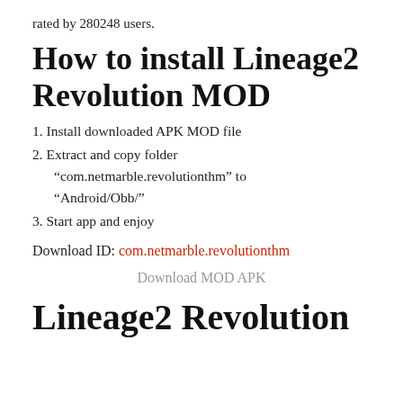rated by 280248 users.
How to install Lineage2 Revolution MOD
1. Install downloaded APK MOD file
2. Extract and copy folder “com.netmarble.revolutionthm” to “Android/Obb/”
3. Start app and enjoy
Download ID: com.netmarble.revolutionthm
Download MOD APK
Lineage2 Revolution